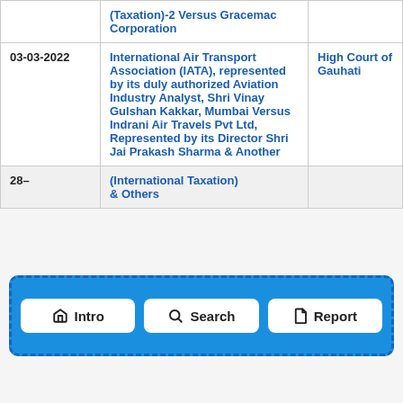| Date | Case Title | Court |
| --- | --- | --- |
|  | (Taxation)-2 Versus Gracemac Corporation |  |
| 03-03-2022 | International Air Transport Association (IATA), represented by its duly authorized Aviation Industry Analyst, Shri Vinay Gulshan Kakkar, Mumbai Versus Indrani Air Travels Pvt Ltd, Represented by its Director Shri Jai Prakash Sharma & Another | High Court of Gauhati |
| 28- | (International Taxation) & Others |  |
[Figure (infographic): Navigation bar with three buttons: Intro (home icon), Search (search icon), Report (document icon), displayed on a blue dashed-bordered background]